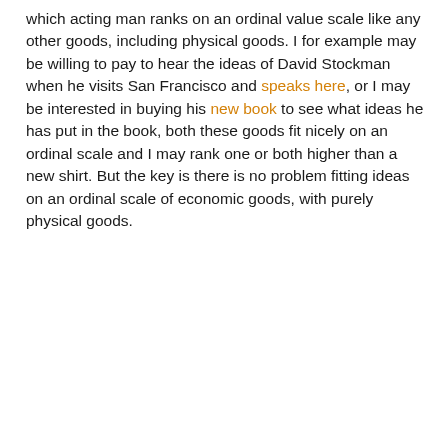which acting man ranks on an ordinal value scale like any other goods, including physical goods. I for example may be willing to pay to hear the ideas of David Stockman when he visits San Francisco and speaks here, or I may be interested in buying his new book to see what ideas he has put in the book, both these goods fit nicely on an ordinal scale and I may rank one or both higher than a new shirt. But the key is there is no problem fitting ideas on an ordinal scale of economic goods, with purely physical goods.